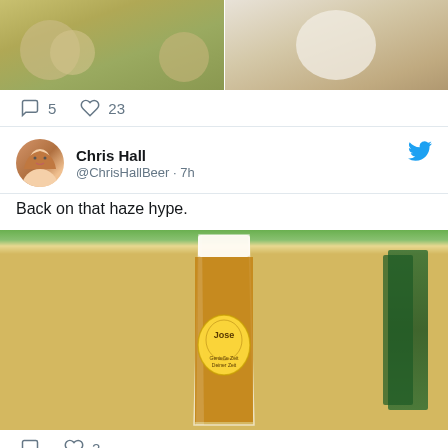[Figure (photo): Two food photos side by side - left shows chips/crackers on a plate, right shows a white plate with food]
5  23 (comment and like counts)
Chris Hall @ChrisHallBeer · 7h
Back on that haze hype.
[Figure (photo): A tall glass of hazy beer with a label showing a person logo, amber/golden color with white foam on top]
2 (like count)
Chris Hall Retweeted